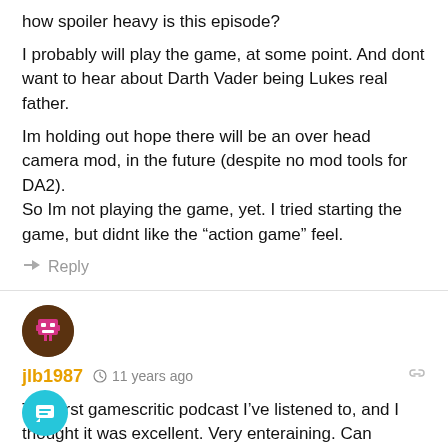how spoiler heavy is this episode?
I probably will play the game, at some point. And dont want to hear about Darth Vader being Lukes real father.
Im holding out hope there will be an over head camera mod, in the future (despite no mod tools for DA2).
So Im not playing the game, yet. I tried starting the game, but didnt like the “action game” feel.
Reply
jlb1987  11 years ago
The first gamescritic podcast I’ve listened to, and I thought it was excellent. Very enteraining. Can definitely see myself downloading them in the future to listen to on my iPod.
7
…icularly amused by Brad’s hate mail attained from the …gon Age 2 review. Come on, gamecritics.com. Brad has a wealth of haters directed to the site from the likes of